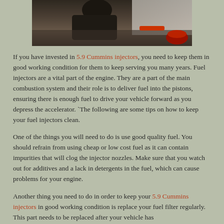[Figure (photo): A person working on or near a vehicle engine/mechanical parts on the ground, with red tools or containers visible]
If you have invested in 5.9 Cummins injectors, you need to keep them in good working condition for them to keep serving you many years. Fuel injectors are a vital part of the engine. They are a part of the main combustion system and their role is to deliver fuel into the pistons, ensuring there is enough fuel to drive your vehicle forward as you depress the accelerator. `The following are some tips on how to keep your fuel injectors clean.
One of the things you will need to do is use good quality fuel. You should refrain from using cheap or low cost fuel as it can contain impurities that will clog the injector nozzles. Make sure that you watch out for additives and a lack in detergents in the fuel, which can cause problems for your engine.
Another thing you need to do in order to keep your 5.9 Cummins injectors in good working condition is replace your fuel filter regularly. This part needs to be replaced after your vehicle has